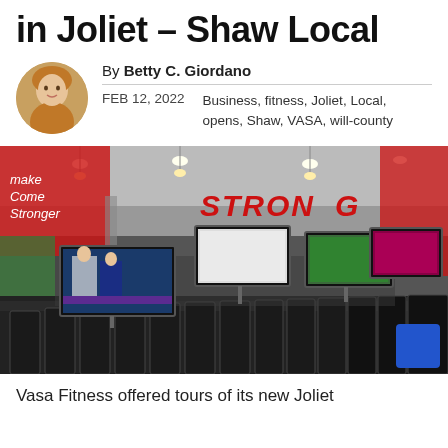in Joliet – Shaw Local
By Betty C. Giordano
FEB 12, 2022    Business, fitness, Joliet, Local, opens, Shaw, VASA, will-county
[Figure (photo): Interior of VASA Fitness gym in Joliet showing rows of exercise equipment, multiple TV screens, and a 'STRONG' banner on the wall]
Vasa Fitness offered tours of its new Joliet